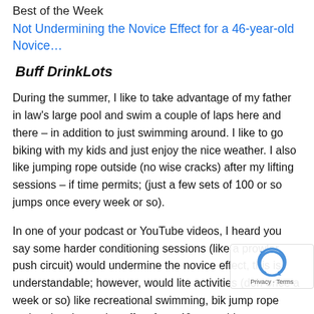Best of the Week
Not Undermining the Novice Effect for a 46-year-old Novice…
Buff DrinkLots
During the summer, I like to take advantage of my father in law's large pool and swim a couple of laps here and there – in addition to just swimming around. I like to go biking with my kids and just enjoy the nice weather. I also like jumping rope outside (no wise cracks) after my lifting sessions – if time permits; (just a few sets of 100 or so jumps once every week or so).
In one of your podcast or YouTube videos, I heard you say some harder conditioning sessions (like a prowler push circuit) would undermine the novice effect, this is understandable; however, would lite activities (done once a week or so) like recreational swimming, biking, jump rope undermine the novice effect for a 46-year-old…